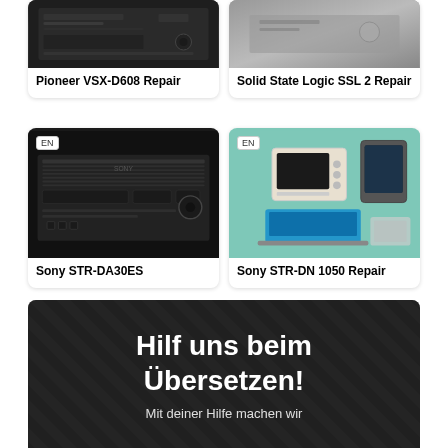[Figure (photo): Pioneer VSX-D608 receiver repair guide card with dark receiver photo]
Pioneer VSX-D608 Repair
[Figure (photo): Solid State Logic SSL 2 Repair guide card with gray background]
Solid State Logic SSL 2 Repair
[Figure (photo): Sony STR-DA30ES repair card with EN badge and photo of black Sony receiver]
Sony STR-DA30ES
[Figure (illustration): Sony STR-DN 1050 Repair card with EN badge and teal illustration of household appliances]
Sony STR-DN 1050 Repair
[Figure (photo): Dark banner with diagonal stripe texture reading Hilf uns beim Übersetzen! with subtitle Mit deiner Hilfe machen wir]